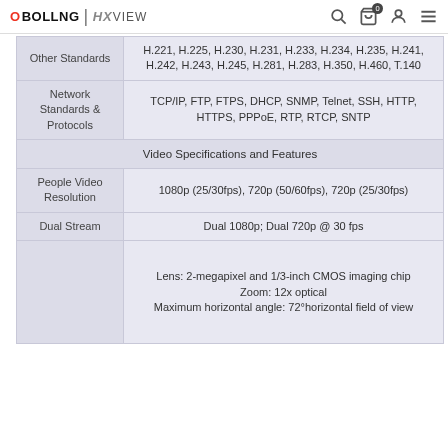OBOLLNG | HXVIEW
| Specification | Value |
| --- | --- |
| Other Standards | H.221, H.225, H.230, H.231, H.233, H.234, H.235, H.241, H.242, H.243, H.245, H.281, H.283, H.350, H.460, T.140 |
| Network Standards & Protocols | TCP/IP, FTP, FTPS, DHCP, SNMP, Telnet, SSH, HTTP, HTTPS, PPPoE, RTP, RTCP, SNTP |
| Video Specifications and Features |  |
| People Video Resolution | 1080p (25/30fps), 720p (50/60fps), 720p (25/30fps) |
| Dual Stream | Dual 1080p; Dual 720p @ 30 fps |
|  | Lens: 2-megapixel and 1/3-inch CMOS imaging chip
Zoom: 12x optical
Maximum horizontal angle: 72°horizontal field of view |